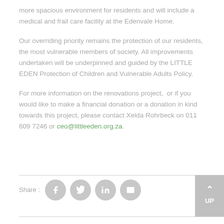more spacious environment for residents and will include a medical and frail care facility at the Edenvale Home.
Our overriding priority remains the protection of our residents, the most vulnerable members of society. All improvements undertaken will be underpinned and guided by the LITTLE EDEN Protection of Children and Vulnerable Adults Policy.
For more information on the renovations project,  or if you would like to make a financial donation or a donation in kind towards this project, please contact Xelda Rohrbeck on 011 609 7246 or ceo@littleeden.org.za.
Share :